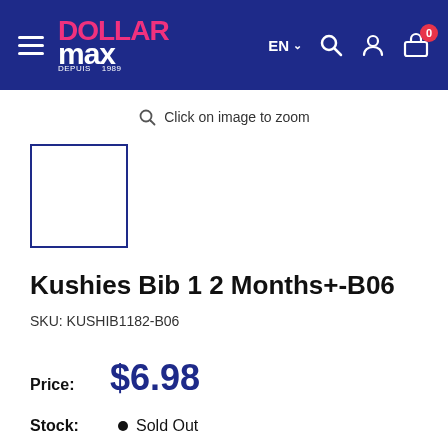[Figure (screenshot): Dollar Max e-commerce website navbar with logo, hamburger menu, EN language selector, search, account, and cart icons on a dark navy background]
Click on image to zoom
[Figure (other): Small product thumbnail placeholder box with navy blue border]
Kushies Bib 12 Months+-B06
SKU: KUSHIB1182-B06
Price: $6.98
Stock: • Sold Out